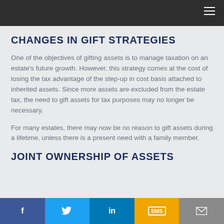CHANGES IN GIFT STRATEGIES
One of the objectives of gifting assets is to manage taxation on an estate's future growth. However, this strategy comes at the cost of losing the tax advantage of the step-up in cost basis attached to inherited assets. Since more assets are excluded from the estate tax, the need to gift assets for tax purposes may no longer be necessary.
For many estates, there may now be no reason to gift assets during a lifetime, unless there is a present need with a family member.
JOINT OWNERSHIP OF ASSETS
Facebook | Twitter | LinkedIn | SMS | Email